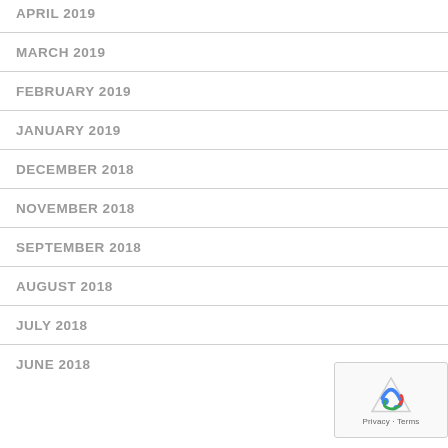APRIL 2019
MARCH 2019
FEBRUARY 2019
JANUARY 2019
DECEMBER 2018
NOVEMBER 2018
SEPTEMBER 2018
AUGUST 2018
JULY 2018
JUNE 2018